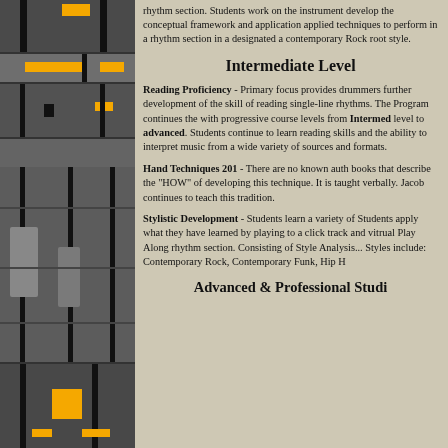[Figure (illustration): Decorative left panel with grey rows, orange horizontal bars, and black vertical lines suggesting a drum or music interface]
rhythm section. Students work on the instrument develop the conceptual framework and application applied techniques to perform in a rhythm section in a designated a contemporary Rock root style.
Intermediate Level
Reading Proficiency - Primary focus provides drummers further development of the skill of reading single-line rhythms. The Program continues the with progressive course levels from Intermediate level to advanced. Students continue to learn reading skills and the ability to interpret music from a wide variety of sources and formats.
Hand Techniques 201 - There are no known authorized books that describe the "HOW" of developing this technique. It is taught verbally. Jacob continues to teach this tradition.
Stylistic Development - Students learn a variety of styles. Students apply what they have learned by playing to a click track and vitrual Play Along rhythm section. Consisting of Style Analysis... Styles include: Contemporary Rock, Contemporary Funk, Hip H...
Advanced & Professional Studi...